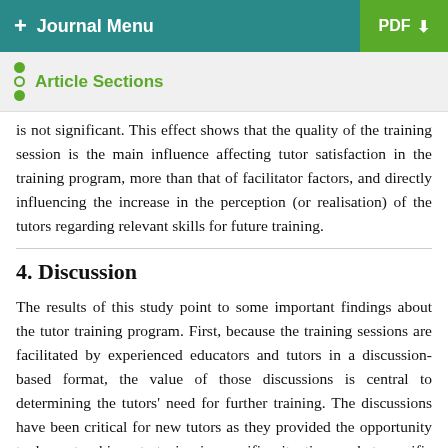+ Journal Menu | PDF
Article Sections
is not significant. This effect shows that the quality of the training session is the main influence affecting tutor satisfaction in the training program, more than that of facilitator factors, and directly influencing the increase in the perception (or realisation) of the tutors regarding relevant skills for future training.
4. Discussion
The results of this study point to some important findings about the tutor training program. First, because the training sessions are facilitated by experienced educators and tutors in a discussion-based format, the value of those discussions is central to determining the tutors' need for further training. The discussions have been critical for new tutors as they provided the opportunity to learn teaching strategies in specific situations, what specific skills are required, and important information about working within their specific departments. Based upon this, they tend to